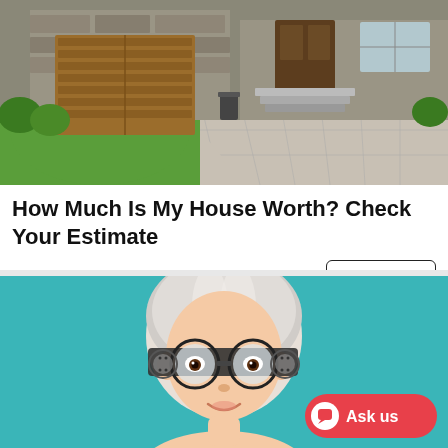[Figure (photo): Photo of a modern house exterior with stone facade, wood garage door, paved driveway, and green lawn]
How Much Is My House Worth? Check Your Estimate
Real Estate | Search Ads | Sponsored
[Figure (illustration): Illustration of an elderly woman with white hair wearing an optometry trial frame/phoropter glasses, on a teal/turquoise background, with a red 'Ask us' chat button]